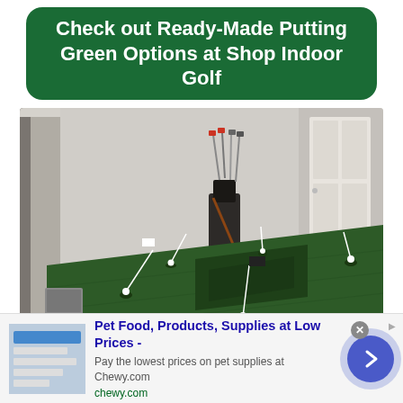Check out Ready-Made Putting Green Options at Shop Indoor Golf
[Figure (photo): Indoor putting green setup in a room with green artificial turf, multiple putting holes with flags, a golf bag with clubs in the background, white walls and door visible.]
Pet Food, Products, Supplies at Low Prices -
Pay the lowest prices on pet supplies at Chewy.com
chewy.com